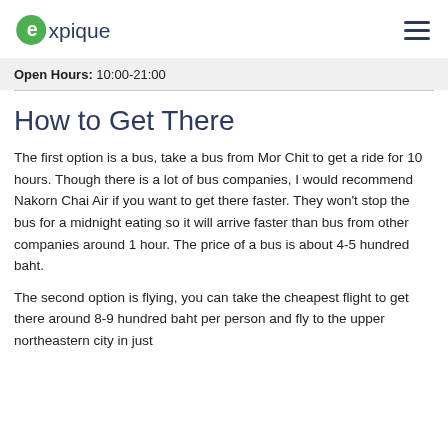expique — Open Hours: 10:00-21:00
How to Get There
The first option is a bus, take a bus from Mor Chit to get a ride for 10 hours. Though there is a lot of bus companies, I would recommend Nakorn Chai Air if you want to get there faster. They won't stop the bus for a midnight eating so it will arrive faster than bus from other companies around 1 hour. The price of a bus is about 4-5 hundred baht.
The second option is flying, you can take the cheapest flight to get there around 8-9 hundred baht per person and fly to the upper northeastern city in just